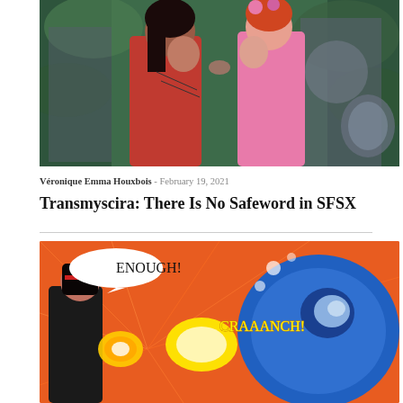[Figure (illustration): Comic book art showing two women about to kiss — one in red with dark hair, one in pink with red hair and flowers — surrounded by armored figures in a chaotic scene with green foliage background.]
Véronique Emma Houxbois - February 19, 2021
Transmyscira: There Is No Safeword in SFSX
[Figure (illustration): Comic book action panel showing Wonder Woman punching a large mechanical/robotic blue object with the sound effect 'CRAAANCH!' in large yellow letters and a speech bubble reading 'ENOUGH!' Orange explosive burst in background.]